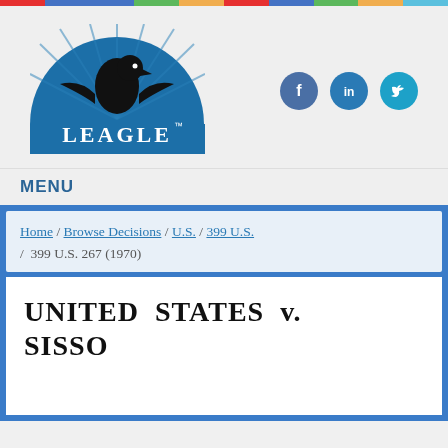[Figure (logo): Leagle.com logo — eagle silhouette on blue semicircle background with LEAGLE text]
[Figure (infographic): Social media icons: Facebook (dark blue circle with f), LinkedIn (medium blue circle with in), Twitter (cyan circle with bird)]
MENU
Home / Browse Decisions / U.S. / 399 U.S. / 399 U.S. 267 (1970)
UNITED STATES v. SISSON